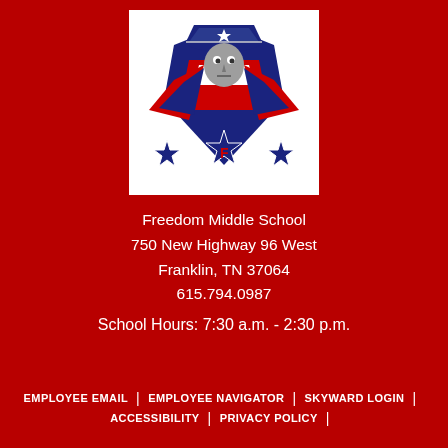[Figure (logo): Freedom Middle School mascot logo — patriot soldier face with tricorn hat, red/white/blue shield and stars, letter F in center star, on white background]
Freedom Middle School
750 New Highway 96 West
Franklin, TN 37064
615.794.0987
School Hours: 7:30 a.m. - 2:30 p.m.
EMPLOYEE EMAIL | EMPLOYEE NAVIGATOR | SKYWARD LOGIN | ACCESSIBILITY | PRIVACY POLICY |